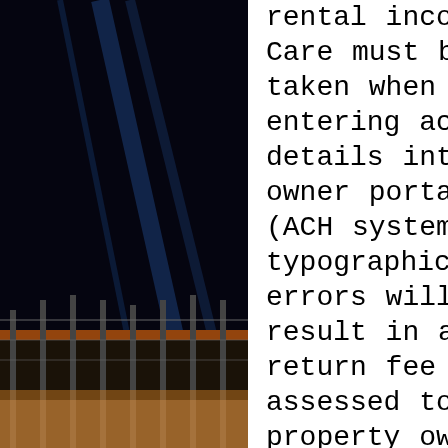[Figure (photo): Dark nighttime background on the left side showing construction fencing and urban scene]
[Figure (photo): Dark nighttime background on the right side showing Statue of Liberty replica illuminated with green/yellow lighting, palm tree in foreground]
rental income. Care must be taken when entering account details into the owner portal (ACH system), as typographical errors will result in a $20 return fee assessed to the property owner. If a property owner requests that ACH be set up by his/her Property Manager, property